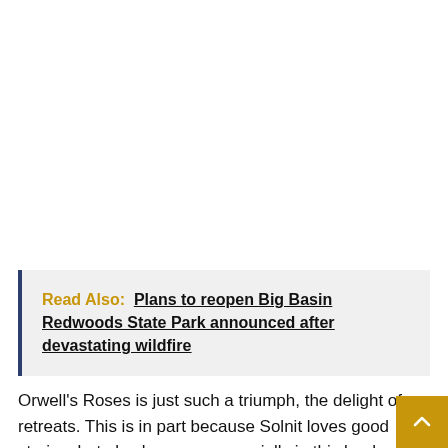Read Also: Plans to reopen Big Basin Redwoods State Park announced after devastating wildfire
Orwell's Roses is just such a triumph, the delight of retreats. This is in part because Solnit loves good stories, but also because, especially in this book, she skillfully trains her